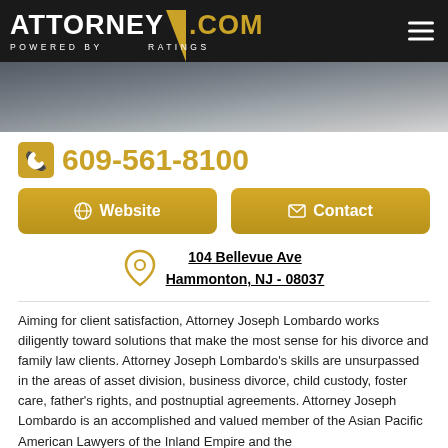ATTORNEY/.COM POWERED BY RATINGS
[Figure (photo): Partial photo of an attorney at a desk, blurred professional setting]
609-561-8100
Website
Contact
104 Bellevue Ave
Hammonton, NJ - 08037
Aiming for client satisfaction, Attorney Joseph Lombardo works diligently toward solutions that make the most sense for his divorce and family law clients. Attorney Joseph Lombardo's skills are unsurpassed in the areas of asset division, business divorce, child custody, foster care, father's rights, and postnuptial agreements. Attorney Joseph Lombardo is an accomplished and valued member of the Asian Pacific American Lawyers of the Inland Empire and the International Association of Young lawyers. Among the list of